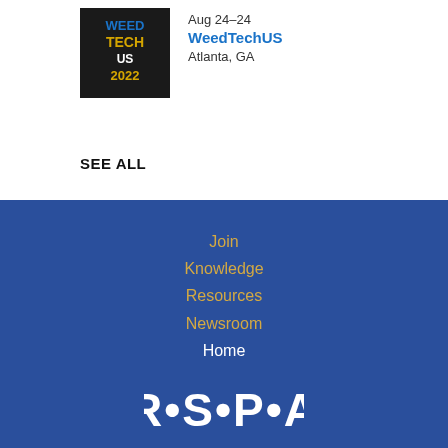[Figure (logo): WeedTech US 2022 event logo — dark background with colorful text]
Aug 24–24
WeedTechUS
Atlanta, GA
SEE ALL
Join
Knowledge
Resources
Newsroom
Home
[Figure (logo): RSPA white logo on blue background]